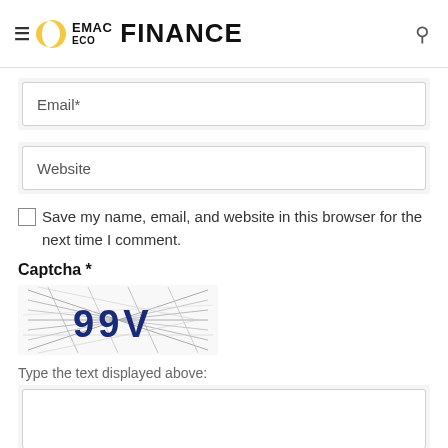EMAC ECO FINANCE
Email*
Website
Save my name, email, and website in this browser for the next time I comment.
Captcha *
[Figure (other): CAPTCHA image showing distorted text '99V' with crosshatch lines over it]
Type the text displayed above: